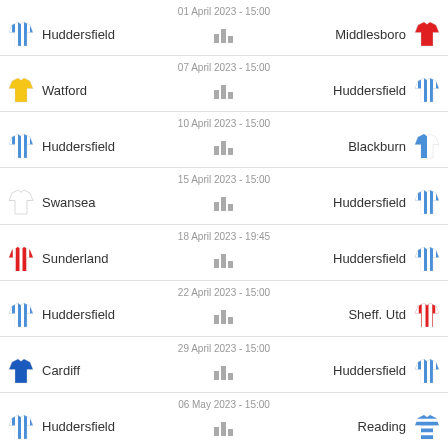01 April 2023 - 15:00 | Huddersfield vs Middlesboro
07 April 2023 - 15:00 | Watford vs Huddersfield
10 April 2023 - 15:00 | Huddersfield vs Blackburn
15 April 2023 - 15:00 | Swansea vs Huddersfield
18 April 2023 - 19:45 | Sunderland vs Huddersfield
22 April 2023 - 15:00 | Huddersfield vs Sheff. Utd
29 April 2023 - 15:00 | Cardiff vs Huddersfield
06 May 2023 - 15:00 | Huddersfield vs Reading